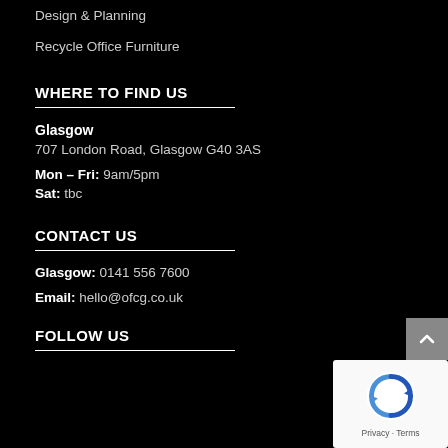Design & Planning
Recycle Office Furniture
WHERE TO FIND US
Glasgow
707 London Road, Glasgow G40 3AS
Mon – Fri: 9am/5pm
Sat: tbc
CONTACT US
Glasgow: 0141 556 7600
Email: hello@ofcg.co.uk
FOLLOW US
[Figure (other): Back-to-top arrow button (grey square with upward chevron) and reCAPTCHA widget overlay in bottom-right corner]